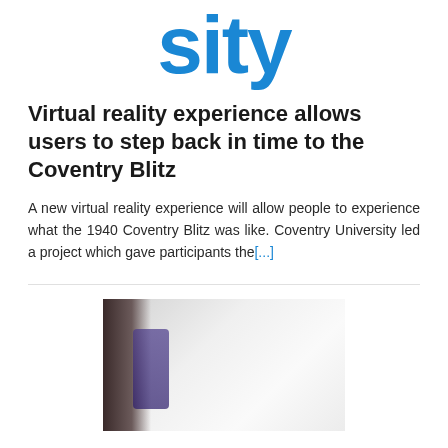sity
Virtual reality experience allows users to step back in time to the Coventry Blitz
A new virtual reality experience will allow people to experience what the 1940 Coventry Blitz was like. Coventry University led a project which gave participants the[...]
[Figure (photo): Blurred photo showing a dark object on the left against a light background, possibly VR equipment]